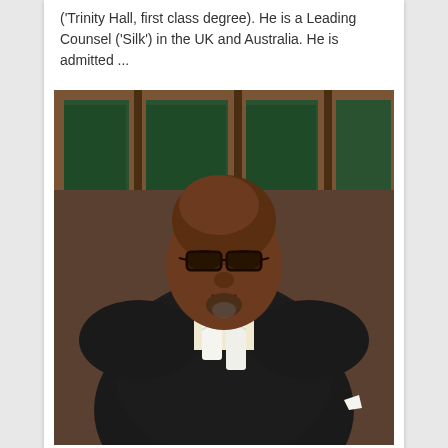('Trinity Hall, first class degree). He is a Leading Counsel ('Silk') in the UK and Australia. He is admitted ...
[Figure (photo): Portrait photograph of a barrister/QC wearing traditional court dress including a dark suit and white barrister's bands/jabot, with glasses, in front of a bookshelf with law books.]